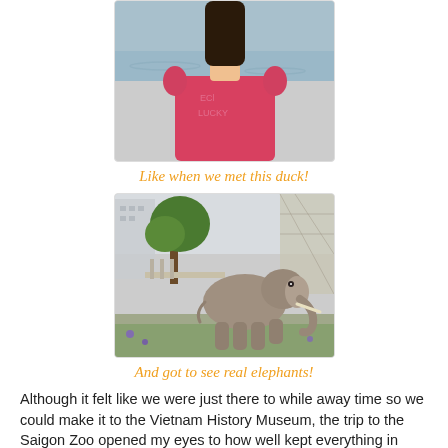[Figure (photo): Partial photo of a person in a red/pink t-shirt standing near water, cropped at top]
Like when we met this duck!
[Figure (photo): Photo of an elephant standing in an outdoor enclosure at Saigon Zoo, with trees, a building, and greenery in the background]
And got to see real elephants!
Although it felt like we were just there to while away time so we could make it to the Vietnam History Museum, the trip to the Saigon Zoo opened my eyes to how well kept everything in Vietnam was. Granted they had rubbish strewn in places